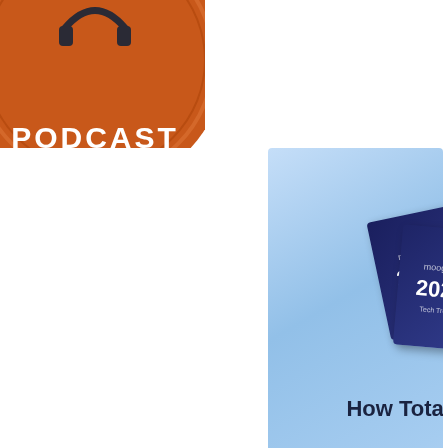[Figure (logo): Circular podcast badge with brown/orange background, headphones icon at top center, white text reading 'PODCAST']
[Figure (illustration): Moogsoft advertisement banner with light blue gradient background. Shows stacked dark blue booklets with '2022' text. Text reads: 'moogsoft' logo at top, '2022 Tech Trends:' in dark text, 'How Total Experience Will Drive Availability' in large bold dark text, pink/magenta rounded button with white text 'Read the Report']
[Figure (photo): Dark teal/blue toned photo of what appears to be a robotic or digital human figure with glowing elements, dark atmospheric background with teal accent at bottom]